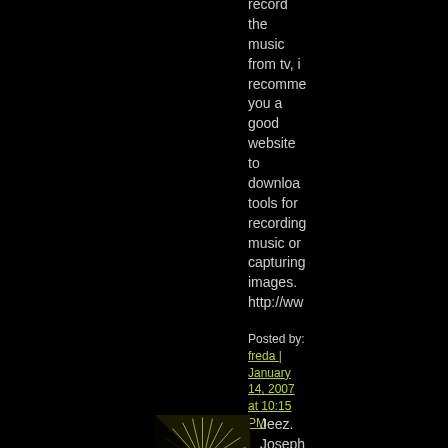record the music from tv, i recommend you a good website to download tools for recording music or capturing images. http://ww
Posted by: freda | January 14, 2007 at 10:15 PM
[Figure (other): Small square avatar/thumbnail with green radial line pattern on black background]
Jeez. Joseph